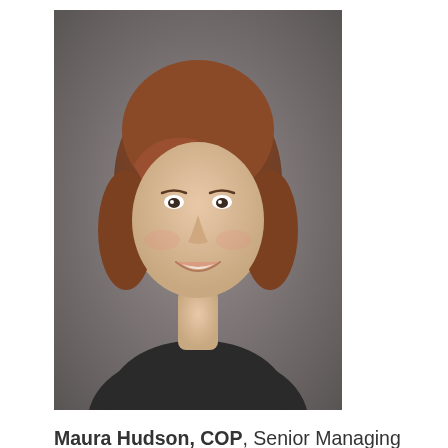[Figure (photo): Professional headshot of a woman with shoulder-length auburn/brown hair, smiling, wearing dark clothing against a grey background.]
Maura Hudson, COP, Senior Managing Director, Newmark Knight Frank - Maura serves as advocate and enabler of strategic analytics, sales operations and marketing collaboration and project management for strategic business development forecasting, corporate solutions network development and management, board and client relationship development, client and prospect communications, and other activities. Maura co-chairs the Women's Empowerment Chapter and the Real Estate & Facilities Management Chapter.